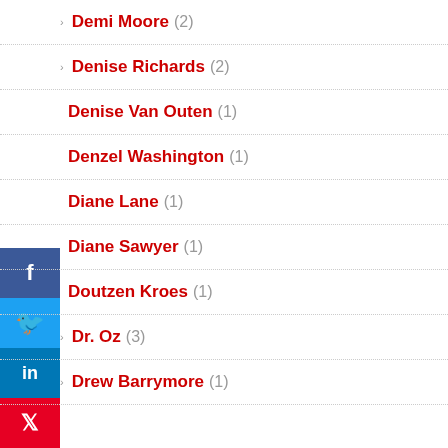Demi Moore (2)
Denise Richards (2)
Denise Van Outen (1)
Denzel Washington (1)
Diane Lane (1)
Diane Sawyer (1)
Doutzen Kroes (1)
Dr. Oz (3)
Drew Barrymore (1)